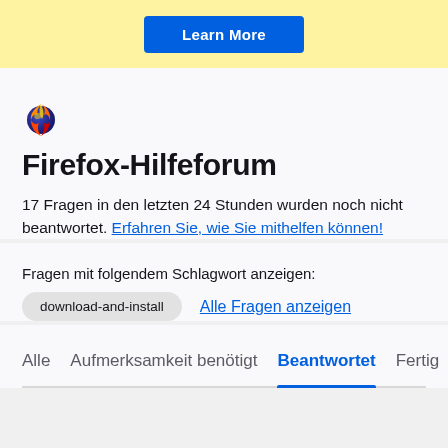[Figure (screenshot): Yellow banner with a blue 'Learn More' button]
[Figure (logo): Firefox browser logo icon]
Firefox-Hilfeforum
17 Fragen in den letzten 24 Stunden wurden noch nicht beantwortet. Erfahren Sie, wie Sie mithelfen können!
Fragen mit folgendem Schlagwort anzeigen:
download-and-install
Alle Fragen anzeigen
Alle  Aufmerksamkeit benötigt  Beantwortet  Fertig